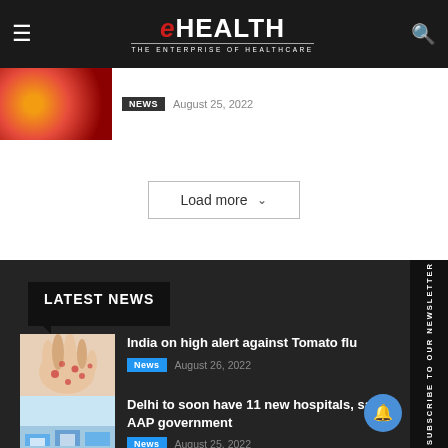eHEALTH – THE ENTERPRISE OF HEALTHCARE
News  August 25, 2022
Load more
LATEST NEWS
India on high alert against Tomato flu
News  August 26, 2022
Delhi to soon have 11 new hospitals, says AAP government
News  August 25, 2022